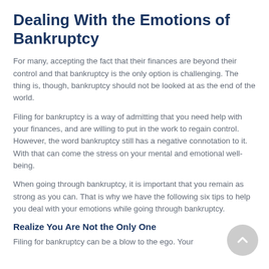Dealing With the Emotions of Bankruptcy
For many, accepting the fact that their finances are beyond their control and that bankruptcy is the only option is challenging. The thing is, though, bankruptcy should not be looked at as the end of the world.
Filing for bankruptcy is a way of admitting that you need help with your finances, and are willing to put in the work to regain control. However, the word bankruptcy still has a negative connotation to it. With that can come the stress on your mental and emotional well-being.
When going through bankruptcy, it is important that you remain as strong as you can. That is why we have the following six tips to help you deal with your emotions while going through bankruptcy.
Realize You Are Not the Only One
Filing for bankruptcy can be a blow to the ego. Your